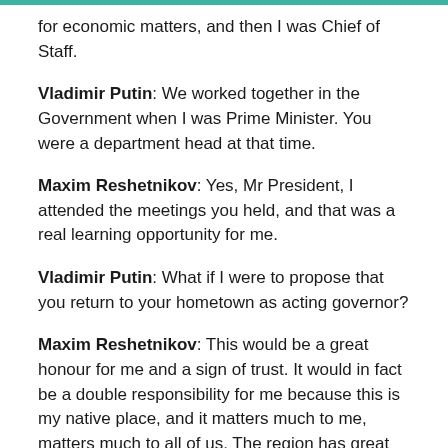for economic matters, and then I was Chief of Staff.
Vladimir Putin: We worked together in the Government when I was Prime Minister. You were a department head at that time.
Maxim Reshetnikov: Yes, Mr President, I attended the meetings you held, and that was a real learning opportunity for me.
Vladimir Putin: What if I were to propose that you return to your hometown as acting governor?
Maxim Reshetnikov: This would be a great honour for me and a sign of trust. It would in fact be a double responsibility for me because this is my native place, and it matters much to me, matters much to all of us. The region has great potential, but there is much work to do to put this potential to greater use for the local people's benefit. There is plenty